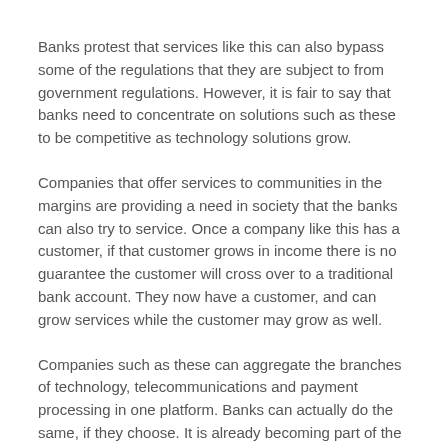Banks protest that services like this can also bypass some of the regulations that they are subject to from government regulations. However, it is fair to say that banks need to concentrate on solutions such as these to be competitive as technology solutions grow.
Companies that offer services to communities in the margins are providing a need in society that the banks can also try to service. Once a company like this has a customer, if that customer grows in income there is no guarantee the customer will cross over to a traditional bank account. They now have a customer, and can grow services while the customer may grow as well.
Companies such as these can aggregate the branches of technology, telecommunications and payment processing in one platform. Banks can actually do the same, if they choose. It is already becoming part of the digital transition for the banking industry.